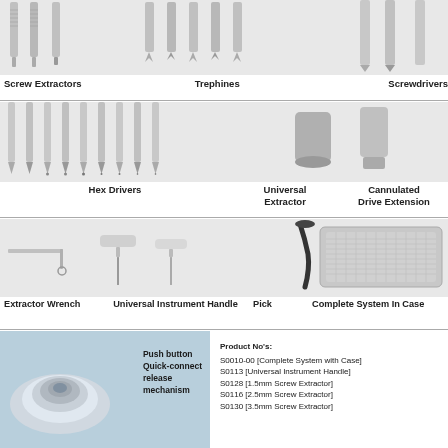[Figure (photo): Surgical instruments: Screw Extractors, Trephines, and Screwdrivers shown from above on white/gray background]
Screw Extractors    Trephines    Screwdrivers
[Figure (photo): Surgical instruments: Hex Drivers, Universal Extractor, and Cannulated Drive Extension]
Hex Drivers    Universal Extractor    Cannulated Drive Extension
[Figure (photo): Surgical instruments: Extractor Wrench, Universal Instrument Handle, Pick, and Complete System In Case]
Extractor Wrench    Universal Instrument Handle    Pick    Complete System In Case
[Figure (photo): Push button Quick-connect release mechanism close-up photo on blue background]
Push button
Quick-connect
release
mechanism
Product No's:
S0010-00 [Complete System with Case]
S0113 [Universal Instrument Handle]
S0128 [1.5mm Screw Extractor]
S0116 [2.5mm Screw Extractor]
S0130 [3.5mm Screw Extractor]